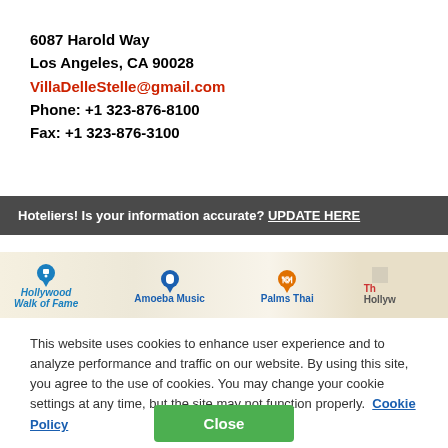6087 Harold Way
Los Angeles, CA 90028
VillaDelleStelle@gmail.com
Phone: +1 323-876-8100
Fax: +1 323-876-3100
Hoteliers! Is your information accurate? UPDATE HERE
[Figure (map): Google Maps strip showing Hollywood Walk of Fame, Amoeba Music, Palms Thai, and partial label starting with 'Th' / 'Hollyw']
This website uses cookies to enhance user experience and to analyze performance and traffic on our website. By using this site, you agree to the use of cookies. You may change your cookie settings at any time, but the site may not function properly. Cookie Policy
Close